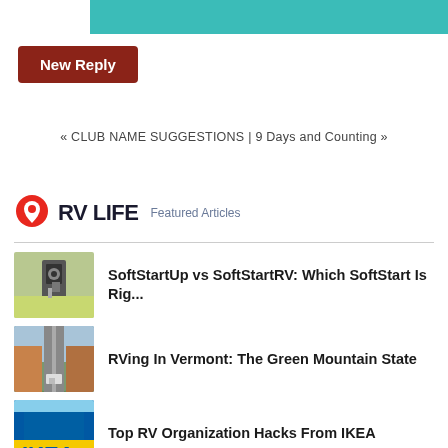[Figure (other): Teal/turquoise colored banner bar at top]
New Reply
« CLUB NAME SUGGESTIONS | 9 Days and Counting »
[Figure (logo): RV LIFE logo with red map pin icon and Featured Articles text]
[Figure (photo): Thumbnail image of electrical hookup equipment with yellow flowers]
SoftStartUp vs SoftStartRV: Which SoftStart Is Rig...
[Figure (photo): Thumbnail image of Vermont road with autumn trees and RV]
RVing In Vermont: The Green Mountain State
[Figure (photo): Thumbnail image of IKEA store sign]
Top RV Organization Hacks From IKEA
[Figure (photo): Partial thumbnail image at bottom, cut off]